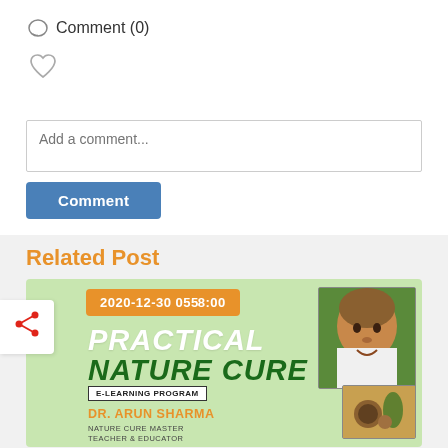Comment (0)
[Figure (other): Heart icon (like button)]
Add a comment...
Comment
Related Post
[Figure (other): Related post card image for Practical Nature Cure E-Learning Program by Dr. Arun Sharma, with date 2020-12-30 0558:00, showing doctor photo and food/herbs image on light green background]